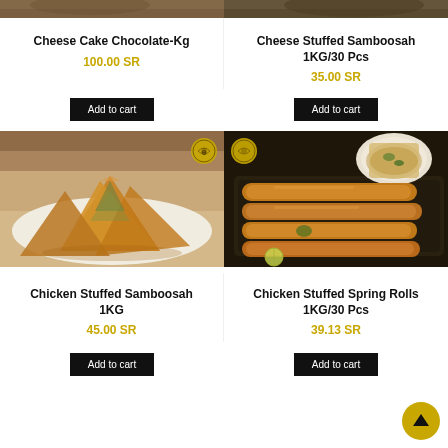[Figure (photo): Partial top of Cheese Cake Chocolate-Kg photo]
[Figure (photo): Partial top of Cheese Stuffed Samboosah photo]
Cheese Cake Chocolate-Kg
100.00 SR
Cheese Stuffed Samboosah 1KG/30 Pcs
35.00 SR
Add to cart
Add to cart
[Figure (photo): Chicken Stuffed Samboosah - triangular fried pastry on white plate with logo badge]
[Figure (photo): Chicken Stuffed Spring Rolls on dark tray with dipping sauce, lime slices, logo badge]
Chicken Stuffed Samboosah 1KG
45.00 SR
Chicken Stuffed Spring Rolls 1KG/30 Pcs
39.13 SR
Add to cart
Add to cart